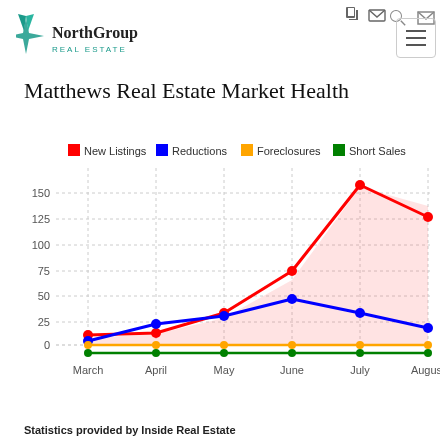NorthGroup Real Estate
Matthews Real Estate Market Health
[Figure (line-chart): Matthews Real Estate Market Health]
Statistics provided by Inside Real Estate